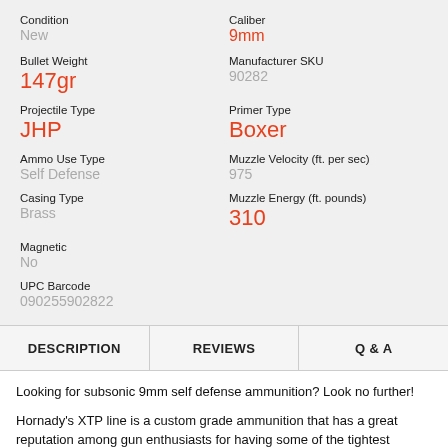Condition
New
Caliber
9mm
Bullet Weight
147gr
Manufacturer SKU
90282
Projectile Type
JHP
Primer Type
Boxer
Ammo Use Type
Self Defense
Muzzle Velocity (ft. per sec)
975
Casing Type
Brass
Muzzle Energy (ft. pounds)
310
Magnetic
No
UPC Barcode
090255902822
DESCRIPTION
REVIEWS
Q & A
Looking for subsonic 9mm self defense ammunition? Look no further!
Hornady's XTP line is a custom grade ammunition that has a great reputation among gun enthusiasts for having some of the tightest tolerances in the industry.